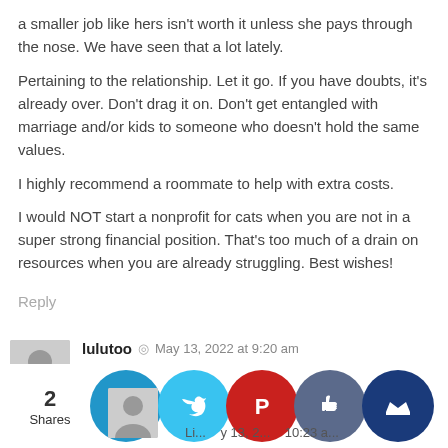a smaller job like hers isn't worth it unless she pays through the nose. We have seen that a lot lately.
Pertaining to the relationship. Let it go. If you have doubts, it's already over. Don't drag it on. Don't get entangled with marriage and/or kids to someone who doesn't hold the same values.
I highly recommend a roommate to help with extra costs.
I would NOT start a nonprofit for cats when you are not in a super strong financial position. That's too much of a drain on resources when you are already struggling. Best wishes!
Reply
lulutoo © May 13, 2022 at 9:20 am
Alley Cat Allies is an excellent non-profit that does TNR (trap-neuter-release) work. They are located in Bethesda, Maryland. Maybe they could give you some advice to help lessen your stress around rescuing these animals (which is wonderful of you to do).
Reply
2 Shares
Li... y 13, 2... 10:23 a...